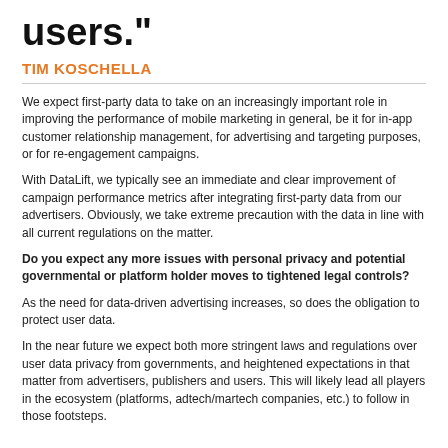users."
TIM KOSCHELLA
We expect first-party data to take on an increasingly important role in improving the performance of mobile marketing in general, be it for in-app customer relationship management, for advertising and targeting purposes, or for re-engagement campaigns.
With DataLift, we typically see an immediate and clear improvement of campaign performance metrics after integrating first-party data from our advertisers. Obviously, we take extreme precaution with the data in line with all current regulations on the matter.
Do you expect any more issues with personal privacy and potential governmental or platform holder moves to tightened legal controls?
As the need for data-driven advertising increases, so does the obligation to protect user data.
In the near future we expect both more stringent laws and regulations over user data privacy from governments, and heightened expectations in that matter from advertisers, publishers and users. This will likely lead all players in the ecosystem (platforms, adtech/martech companies, etc.) to follow in those footsteps.